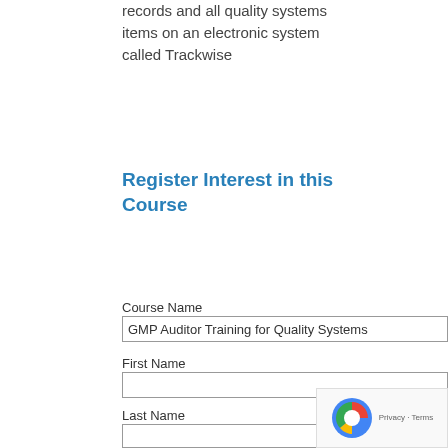records and all quality systems items on an electronic system called Trackwise
Register Interest in this Course
Course Name
GMP Auditor Training for Quality Systems
First Name
Last Name
Company